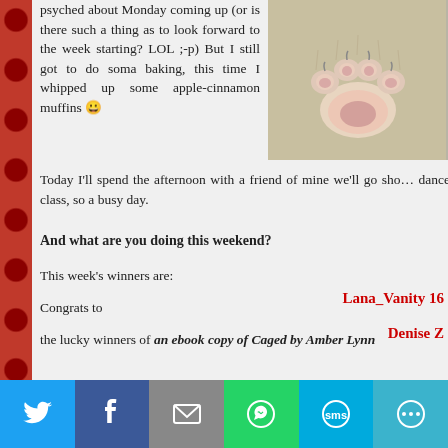psyched about Monday coming up (or is there such a thing as to look forward to the week starting? LOL ;-p) But I still got to do soma baking, this time I whipped up some apple-cinnamon muffins 😀
[Figure (photo): Close-up photo of a cat's paw pads]
Today I'll spend the afternoon with a friend of mine we'll go sho... dance class, so a busy day.
And what are you doing this weekend?
This week's winners are:
Congrats to
the lucky winners of an ebook copy of Caged by Amber Lynn
Lana_Vanity 16
Denise Z